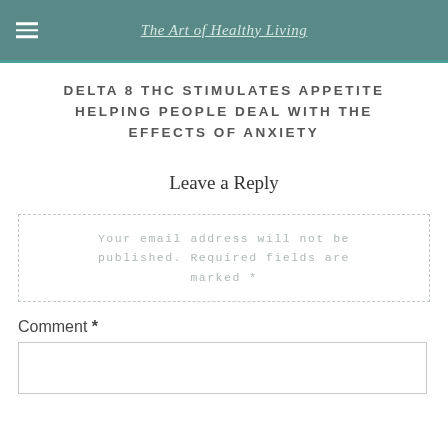The Art of Healthy Living
DELTA 8 THC STIMULATES APPETITE HELPING PEOPLE DEAL WITH THE EFFECTS OF ANXIETY
Leave a Reply
Your email address will not be published. Required fields are marked *
Comment *